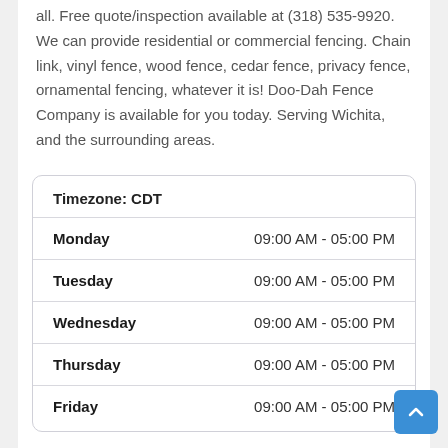all. Free quote/inspection available at (318) 535-9920. We can provide residential or commercial fencing. Chain link, vinyl fence, wood fence, cedar fence, privacy fence, ornamental fencing, whatever it is! Doo-Dah Fence Company is available for you today. Serving Wichita, and the surrounding areas.
|  |  |
| --- | --- |
| Timezone: CDT |  |
| Monday | 09:00 AM - 05:00 PM |
| Tuesday | 09:00 AM - 05:00 PM |
| Wednesday | 09:00 AM - 05:00 PM |
| Thursday | 09:00 AM - 05:00 PM |
| Friday | 09:00 AM - 05:00 PM |